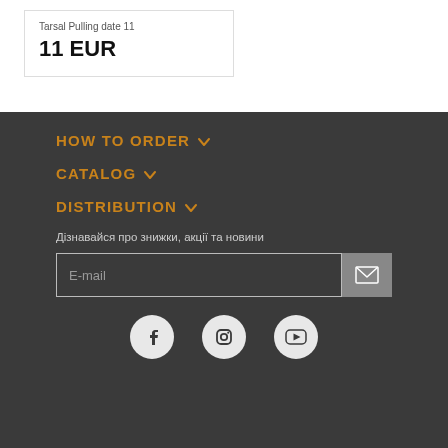Tarsal Pulling date 11
11 EUR
HOW TO ORDER
CATALOG
DISTRIBUTION
Дізнавайся про знижки, акції та новини
E-mail